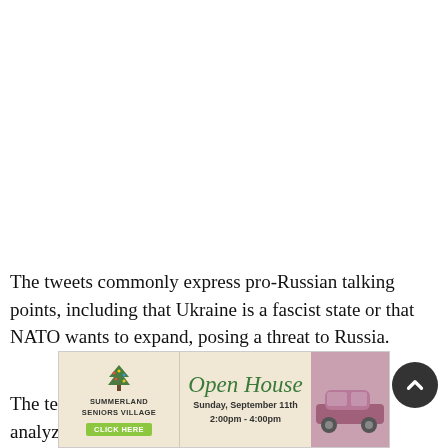The tweets commonly express pro-Russian talking points, including that Ukraine is a fascist state or that NATO wants to expand, posing a threat to Russia.
The team of experts at the University of Calgary analyzed
[Figure (other): Advertisement for Summerland Seniors Village Open House, Sunday, September 11th, 2:00pm - 4:00pm, with a click here button and an image of a vintage car]